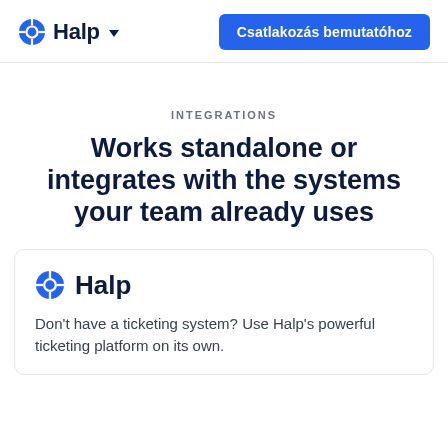Halp   Csatlakozás bemutatóhoz
INTEGRATIONS
Works standalone or integrates with the systems your team already uses
Halp
Don't have a ticketing system? Use Halp's powerful ticketing platform on its own.